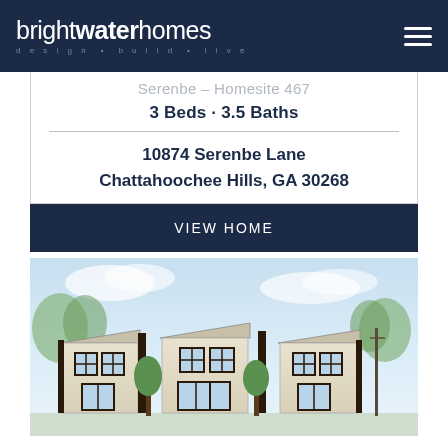brightwater homes — design • build • live
Serenbe — Homesite 467
3 Beds · 3.5 Baths
10874 Serenbe Lane
Chattahoochee Hills, GA 30268
VIEW HOME
[Figure (illustration): Architectural watercolor rendering of a row of three townhomes with dark window frames, trees, and blue sky background]